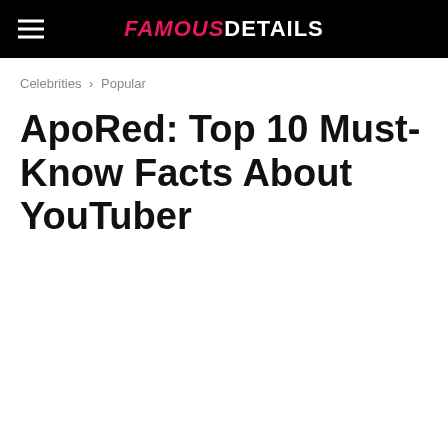FAMOUS DETAILS
Celebrities › Popular
ApoRed: Top 10 Must-Know Facts About YouTuber